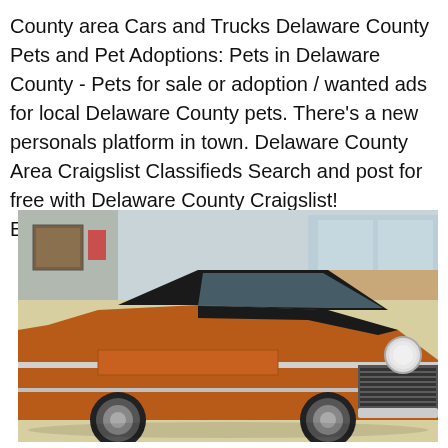County area Cars and Trucks Delaware County Pets and Pet Adoptions: Pets in Delaware County - Pets for sale or adoption / wanted ads for local Delaware County pets. There's a new personals platform in town. Delaware County Area Craigslist Classifieds Search and post for free with Delaware County Craigslist! Equine.com - for horses and horse.
[Figure (photo): A classic muscle car with orange/rust body and black hood, photographed inside what appears to be a car dealership showroom. The car has chrome grille and custom wheels.]